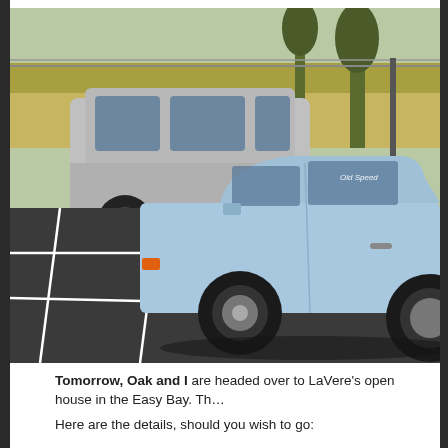[Figure (photo): A light blue vintage sedan (with 'Old Speed' decal on rear window) parked in a parking lot in the foreground, with a silver Honda Element SUV parked behind it. Dry grassy field and trees visible in the background.]
Tomorrow, Oak and I are headed over to LaVere's open house in the Easy Bay. The Here are the details, should you wish to go: